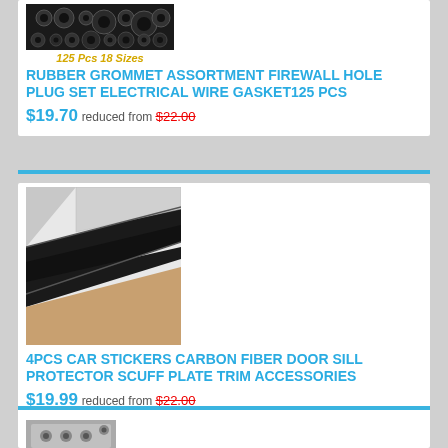[Figure (photo): Rubber grommet assortment product image showing various sized black rubber grommets]
125 Pcs 18 Sizes
RUBBER GROMMET ASSORTMENT FIREWALL HOLE PLUG SET ELECTRICAL WIRE GASKET125 PCS
$19.70 reduced from $22.00
[Figure (photo): 4pcs car stickers carbon fiber door sill protector scuff plate trim accessories product image]
4PCS CAR STICKERS CARBON FIBER DOOR SILL PROTECTOR SCUFF PLATE TRIM ACCESSORIES
$19.99 reduced from $22.00
[Figure (photo): Partial view of a third product image at the bottom of the page]